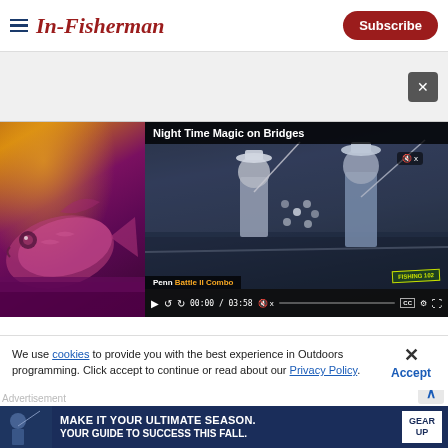In-Fisherman — Subscribe
[Figure (screenshot): In-Fisherman website header with logo and Subscribe button]
[Figure (screenshot): Video player showing 'Night Time Magic on Bridges' with two fishermen on a bridge at dusk, video paused at 00:00 / 03:58, Penn Battle II Combo advertisement visible]
[Figure (photo): Fish close-up photo with purple/orange sunset background]
We use cookies to provide you with the best experience in Outdoors programming. Click accept to continue or read about our Privacy Policy.
Advertisement
[Figure (screenshot): Advertisement banner: MAKE IT YOUR ULTIMATE SEASON. YOUR GUIDE TO SUCCESS THIS FALL. GEAR UP]